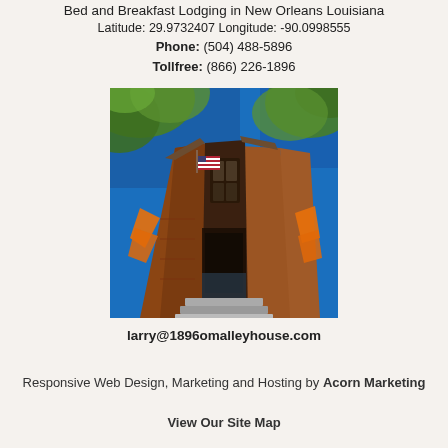Bed and Breakfast Lodging in New Orleans Louisiana
Latitude: 29.9732407 Longitude: -90.0998555
Phone: (504) 488-5896
Tollfree: (866) 226-1896
[Figure (photo): Upward-angle photograph of a historic brick building (bed and breakfast) in New Orleans, with an American flag visible, trees with foliage against a blue sky, and decorative orange banners.]
larry@1896omalleyhouse.com
Responsive Web Design, Marketing and Hosting by Acorn Marketing
View Our Site Map